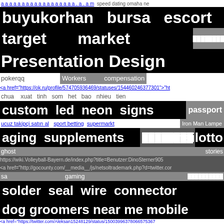buyukorhan  bursa  escort
target  market
Presentation Design Agency India
pokerqq  Workers  compensation
<a href="https://ok.ru/profile/574705936469/statuses/154460246377301">"ht
chua  xuat  tinh  som  het  bao  nhieu  tien
custom  led  neon  signs  passport
ucuz takipçi satın al  sport betting  supermarkt  Iron Man Lampe
aging  supplements  ████████  thailotto
ghost  stories
https://wiki.Volleyball-Bayern.de/index.php?title=Benutzer:DinoSterner905
<a href="http://gocounty.com/__media__/js/netsoltrademark.php?d=twitter.cor
sa  gaming  ██████████
solder  seal  wire  connector
dog  groomers  near  me  mobile
<a href="https://twitter.com/Aleksan15248129/status/150039963780665753 67
cheap  flowers  delivered  next  day
<a href="https://ok.ru/profile/590863510043/statuses/154030950 12
<a href="https://twitter.com/AmyCorr14/status/1499128053208858634">"https
Slot  4D
free cosmetic bottle 3d models for blen
Beard Roller  lampe kaufen  purcari chardonnay